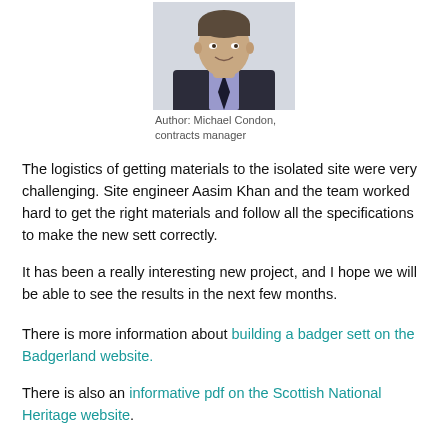[Figure (photo): Portrait photo of a man in a dark suit with tie, smiling, against a light background.]
Author: Michael Condon, contracts manager
The logistics of getting materials to the isolated site were very challenging. Site engineer Aasim Khan and the team worked hard to get the right materials and follow all the specifications to make the new sett correctly.
It has been a really interesting new project, and I hope we will be able to see the results in the next few months.
There is more information about building a badger sett on the Badgerland website.
There is also an informative pdf on the Scottish National Heritage website.